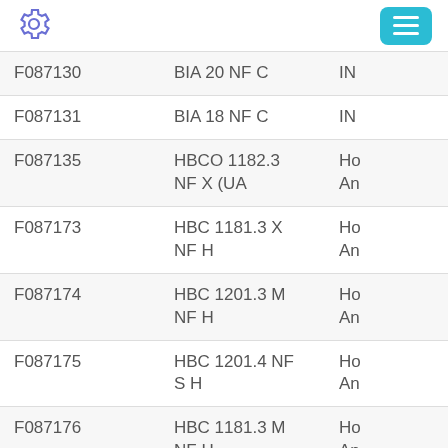[Figure (screenshot): Navigation bar with gear/settings icon on the left and a teal hamburger menu button on the right]
| F087130 |  | BIA 20 NF C | IN… |
| F087131 |  | BIA 18 NF C | IN… |
| F087135 |  | HBCO 1182.3 NF X (UA | Ho An… |
| F087173 | 869990871730 | HBC 1181.3 X NF H | Ho An… |
| F087174 | 869990871740 | HBC 1201.3 M NF H | Ho An… |
| F087175 |  | HBC 1201.4 NF S H | Ho An… |
| F087176 |  | HBC 1181.3 M NF H | Ho An… |
| F087177 |  | FCFB 1010 SH… | … |